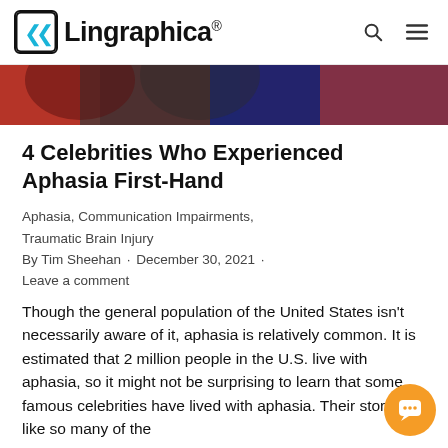Lingraphica®
[Figure (photo): Partial view of people, appears to be a colorful background with figures, cropped at top]
4 Celebrities Who Experienced Aphasia First-Hand
Aphasia, Communication Impairments, Traumatic Brain Injury
By Tim Sheehan · December 30, 2021 · Leave a comment
Though the general population of the United States isn't necessarily aware of it, aphasia is relatively common. It is estimated that 2 million people in the U.S. live with aphasia, so it might not be surprising to learn that some famous celebrities have lived with aphasia. Their stories, like so many of the